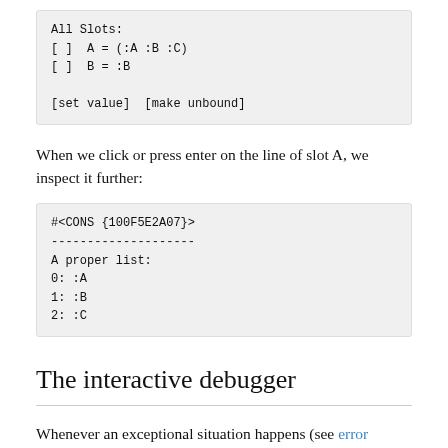[Figure (screenshot): Code block showing: All Slots: [ ] A = (:A :B :C) [ ] B = :B [set value] [make unbound]]
When we click or press enter on the line of slot A, we inspect it further:
[Figure (screenshot): Code block showing: #<CONS {100F5E2A07}> -------------------- A proper list: 0: :A 1: :B 2: :C]
The interactive debugger
Whenever an exceptional situation happens (see error handling), the interactive debugger...